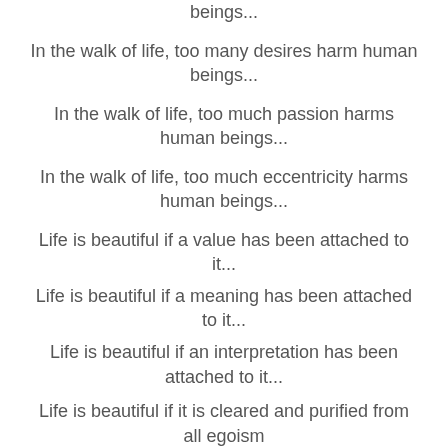beings...
In the walk of life, too many desires harm human beings...
In the walk of life, too much passion harms human beings...
In the walk of life, too much eccentricity harms human beings...
Life is beautiful if a value has been attached to it...
Life is beautiful if a meaning has been attached to it...
Life is beautiful if an interpretation has been attached to it...
Life is beautiful if it is cleared and purified from all egoism